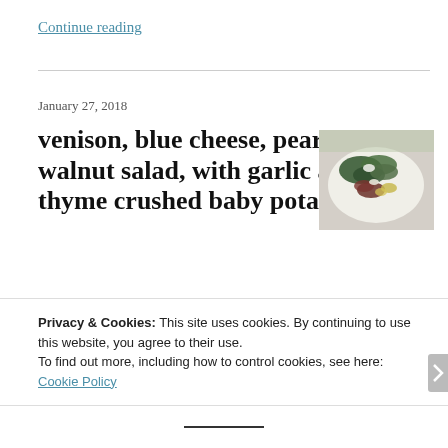Continue reading
January 27, 2018
venison, blue cheese, pear & walnut salad, with garlic and thyme crushed baby potatoes
[Figure (photo): Photo of a salad dish with green leaves, venison, pear and blue cheese on a white plate]
this well known combination of flavours is popular for a reason, its bloody good
Privacy & Cookies: This site uses cookies. By continuing to use this website, you agree to their use.
To find out more, including how to control cookies, see here: Cookie Policy
Close and accept